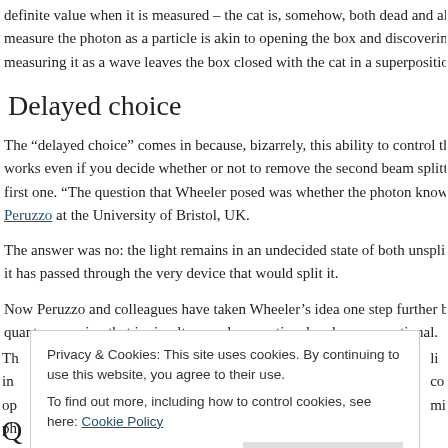definite value when it is measured – the cat is, somehow, both dead and alive measure the photon as a particle is akin to opening the box and discovering w measuring it as a wave leaves the box closed with the cat in a superposition,
Delayed choice
The “delayed choice” comes in because, bizarrely, this ability to control the ph works even if you decide whether or not to remove the second beam splitter first one. “The question that Wheeler posed was whether the photon knows in Peruzzo at the University of Bristol, UK.
The answer was no: the light remains in an undecided state of both unsplittab it has passed through the very device that would split it.
Now Peruzzo and colleagues have taken Wheeler’s idea one step further by m quantum version that is simultaneously operational and non-operational.
Th li in co op mi ph
Privacy & Cookies: This site uses cookies. By continuing to use this website, you agree to their use. To find out more, including how to control cookies, see here: Cookie Policy
Q